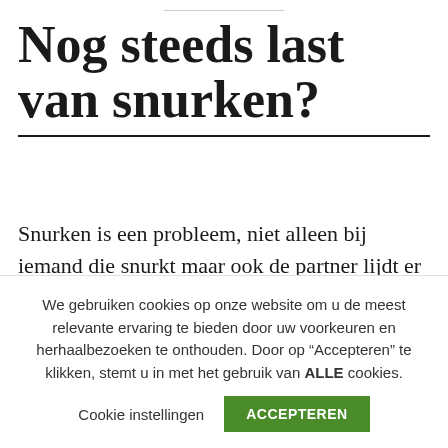Nog steeds last van snurken?
Snurken is een probleem, niet alleen bij iemand die snurkt maar ook de partner lijdt er onder. Veel producten zijn er op de markt die zeggen het probleem aan te
We gebruiken cookies op onze website om u de meest relevante ervaring te bieden door uw voorkeuren en herhaalbezoeken te onthouden. Door op “Accepteren” te klikken, stemt u in met het gebruik van ALLE cookies.
Cookie instellingen    ACCEPTEREN